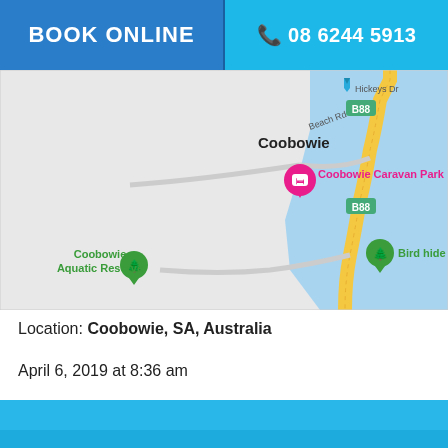BOOK ONLINE | 08 6244 5913
[Figure (map): Google Maps screenshot showing Coobowie, SA, Australia. Features include Coobowie Caravan Park marker (pink), Bird hide marker (green), Coobowie Aquatic Reserve label (green), B88 road signs, Beach Rd label, Hickeys Dr label. Blue water body (likely lake/bay) on right side. Road runs north-south through center.]
Location: Coobowie, SA, Australia
April 6, 2019 at 8:36 am